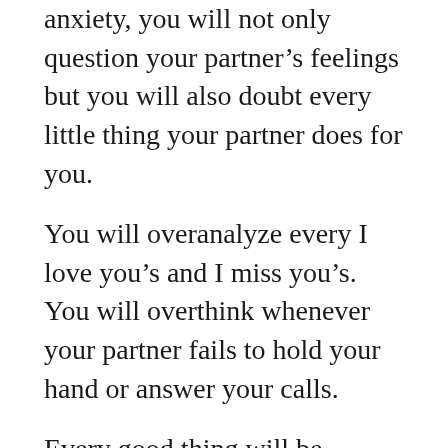anxiety, you will not only question your partner's feelings but you will also doubt every little thing your partner does for you.
You will overanalyze every I love you's and I miss you's. You will overthink whenever your partner fails to hold your hand or answer your calls.
Every good thing will be discredited while every bad thing will have unnecessary and uncertain meanings.
3. Waiting For Things To Go Wrong
Relationship anxiety will make you feel like